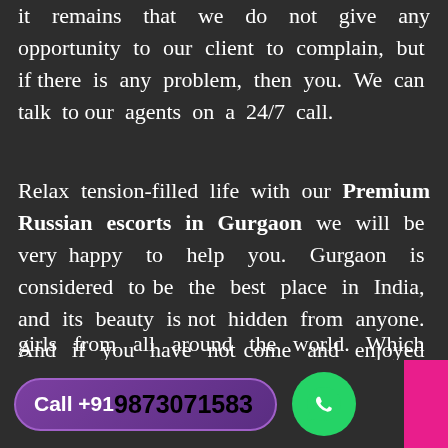it remains that we do not give any opportunity to our client to complain, but if there is any problem, then you. We can talk to our agents on a 24/7 call.
Relax tension-filled life with our Premium Russian escorts in Gurgaon we will be very happy to help you. Gurgaon is considered to be the best place in India, and its beauty is not hidden from anyone. And if you have not come and enjoyed our Gurgaon Russian Escorts Service then you are making the biggest mistake. Because there are beautiful girls from all around the world. Which makes people happy. hen whether
Call +91 9873071583